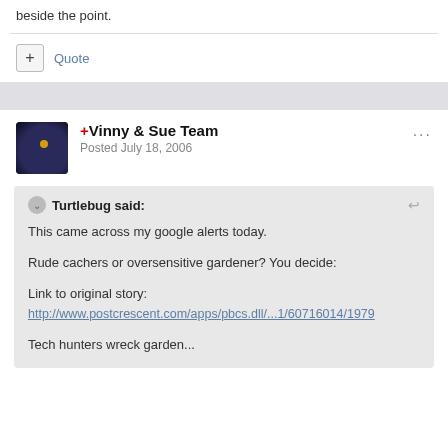beside the point.
Quote
+Vinny & Sue Team
Posted July 18, 2006
Turtlebug said:

This came across my google alerts today.

Rude cachers or oversensitive gardener? You decide:

Link to original story:
http://www.postcrescent.com/apps/pbcs.dll/...1/60716014/1979

Tech hunters wreck garden...